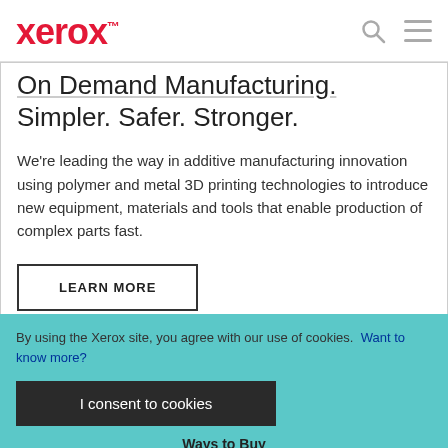xerox™
On Demand Manufacturing. Simpler. Safer. Stronger.
We're leading the way in additive manufacturing innovation using polymer and metal 3D printing technologies to introduce new equipment, materials and tools that enable production of complex parts fast.
LEARN MORE
By using the Xerox site, you agree with our use of cookies. Want to know more?
I consent to cookies
Ways to Buy